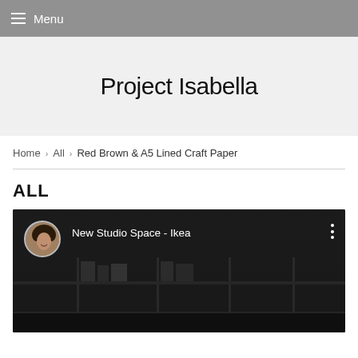Menu
Project Isabella
Home › All › Red Brown & A5 Lined Craft Paper
ALL
[Figure (screenshot): YouTube-style video thumbnail showing 'New Studio Space - Ikea' with a circular avatar of a woman with curly hair on the left, three vertical dots menu on the right, and a dark bookshelf room background]